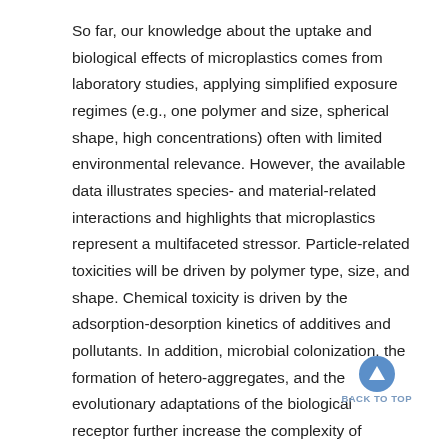So far, our knowledge about the uptake and biological effects of microplastics comes from laboratory studies, applying simplified exposure regimes (e.g., one polymer and size, spherical shape, high concentrations) often with limited environmental relevance. However, the available data illustrates species- and material-related interactions and highlights that microplastics represent a multifaceted stressor. Particle-related toxicities will be driven by polymer type, size, and shape. Chemical toxicity is driven by the adsorption-desorption kinetics of additives and pollutants. In addition, microbial colonization, the formation of hetero-aggregates, and the evolutionary adaptations of the biological receptor further increase the complexity of microplastics as stressors. Therefore, the aim of this chapter is to synthesize and critically revisit these aspects based on the state of the science in freshwater research. Where unavailable we supplement this with data on marine biota. This provides an insight